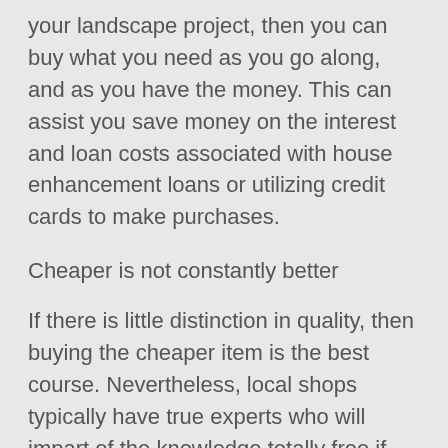your landscape project, then you can buy what you need as you go along, and as you have the money. This can assist you save money on the interest and loan costs associated with house enhancement loans or utilizing credit cards to make purchases.
Cheaper is not constantly better
If there is little distinction in quality, then buying the cheaper item is the best course. Nevertheless, local shops typically have true experts who will impart of the knowledge totally free if you ask questions while purchasing. Boutique can give you remedy information on installing a water feature. If you are new to landscaping, it can save money in the long run to spend a little extra to improve service, aid and advice. If you do buy at a “big box” shop, make certain to thoroughly inspect plants for illness and insect problems. These